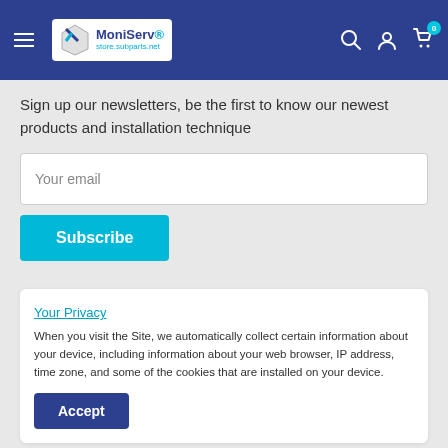MoniServ — navigation header with logo, search, account, and cart icons
Sign up our newsletters, be the first to know our newest products and installation technique
Your email
Subscribe
Your Privacy
When you visit the Site, we automatically collect certain information about your device, including information about your web browser, IP address, time zone, and some of the cookies that are installed on your device.
Accept